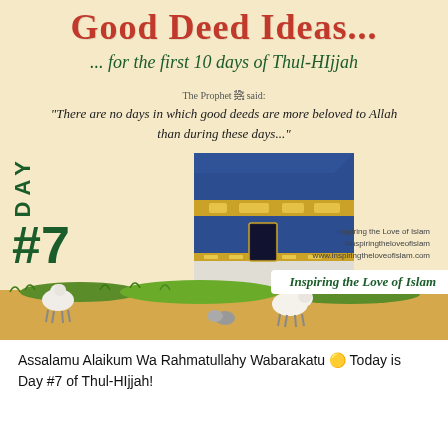Good Deed Ideas...
... for the first 10 days of Thul-HIjjah
The Prophet ☮ said:
"There are no days in which good deeds are more beloved to Allah than during these days..."
[Figure (illustration): Illustrated Kaaba (Mecca) with blue and gold fabric covering, set on a sandy ground with cartoon sheep and grass in foreground. Large green text 'DAY #7' on left side.]
Inspiring the Love of Islam
#inspiringtheloveofislam
www.inspiringtheloveofislam.com
Inspiring the Love of Islam
Assalamu Alaikum Wa Rahmatullahy Wabarakatu 🟡 Today is Day #7 of Thul-HIjjah!